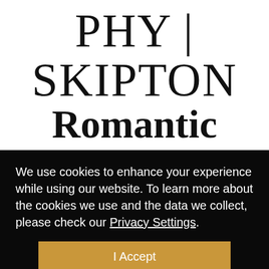PHY | SKIPTON
Romantic Destination
We use cookies to enhance your experience while using our website. To learn more about the cookies we use and the data we collect, please check our Privacy Settings.
I Accept